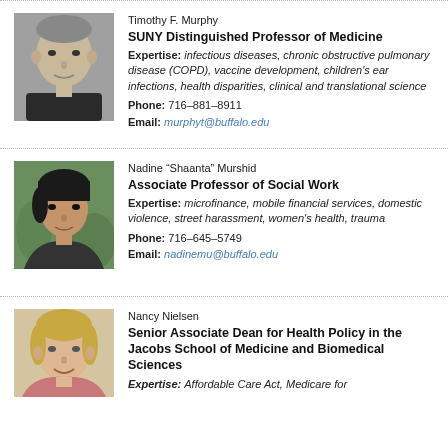[Figure (photo): Headshot of Timothy F. Murphy, older man with gray hair, wearing dark suit]
Timothy F. Murphy
SUNY Distinguished Professor of Medicine
Expertise: infectious diseases, chronic obstructive pulmonary disease (COPD), vaccine development, children's ear infections, health disparities, clinical and translational science
Phone: 716-881-8911
Email: murphyt@buffalo.edu
[Figure (photo): Headshot of Nadine Shaanta Murshid, woman with short dark hair, outdoor background]
Nadine "Shaanta" Murshid
Associate Professor of Social Work
Expertise: microfinance, mobile financial services, domestic violence, street harassment, women's health, trauma
Phone: 716-645-5749
Email: nadinemu@buffalo.edu
[Figure (photo): Headshot of Nancy Nielsen, woman with blonde hair, smiling]
Nancy Nielsen
Senior Associate Dean for Health Policy in the Jacobs School of Medicine and Biomedical Sciences
Expertise: Affordable Care Act, Medicare for